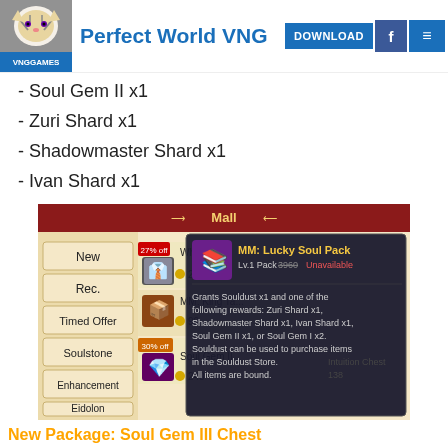Perfect World VNG
Soul Gem II x1
Zuri Shard x1
Shadowmaster Shard x1
Ivan Shard x1
[Figure (screenshot): In-game Mall screenshot showing MM: Lucky Soul Pack tooltip with description: Grants Souldust x1 and one of the following rewards: Zuri Shard x1, Shadowmaster Shard x1, Ivan Shard x1, Soul Gem II x1, or Soul Gem I x2. Souldust can be used to purchase items in the Souldust Store. All items are bound. Lv.1 Pack priced at 3960. Menu categories: New, Rec., Timed Offer, Soulstone, Enhancement, Eidolon. Items shown: White Attire (2980), MM: King Ta... (90), Soul Gem II... (240).]
New Package: Soul Gem III Chest